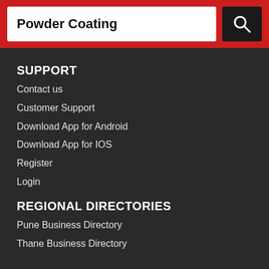Powder Coating
SUPPORT
Contact us
Customer Support
Download App for Android
Download App for IOS
Register
Login
REGIONAL DIRECTORIES
Pune Business Directory
Thane Business Directory